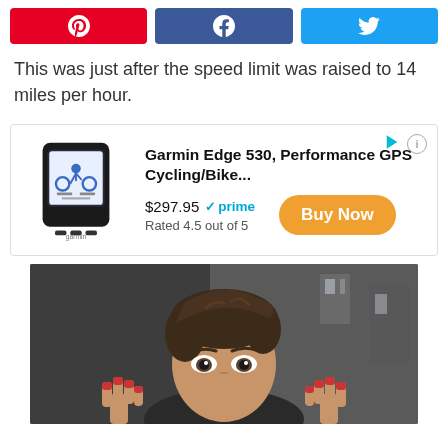[Figure (infographic): Social share buttons: Pinterest (red), Facebook (dark blue), Twitter (light blue)]
This was just after the speed limit was raised to 14 miles per hour.
[Figure (infographic): Advertisement box: Garmin Edge 530, Performance GPS Cycling/Bike... priced at $297.95 with Amazon Prime badge, Rated 4.5 out of 5, and an orange Buy Now button. Product image on left showing the GPS device.]
[Figure (photo): Photo of a young person with brown hair looking at the camera with hands raised, appearing to be in an urban setting.]